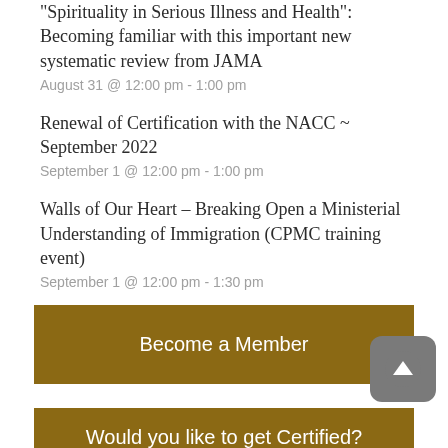"Spirituality in Serious Illness and Health": Becoming familiar with this important new systematic review from JAMA
August 31 @ 12:00 pm - 1:00 pm
Renewal of Certification with the NACC ~ September 2022
September 1 @ 12:00 pm - 1:00 pm
Walls of Our Heart – Breaking Open a Ministerial Understanding of Immigration (CPMC training event)
September 1 @ 12:00 pm - 1:30 pm
View All Events
Become a Member
Would you like to get Certified?